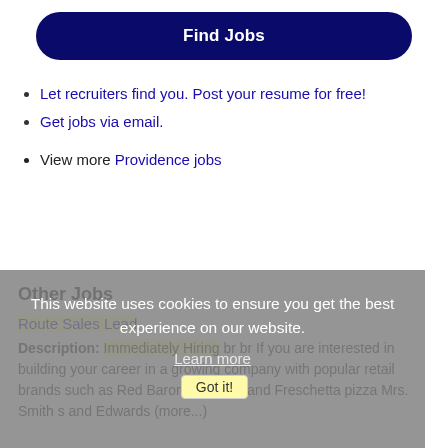Find Jobs
Let recruiters find you. Post your resume for free!
Get jobs via email.
View more Providence jobs
[Figure (screenshot): Cookie consent overlay with text: This website uses cookies to ensure you get the best experience on our website. Learn more. Got it!]
Other Jobs
Route Sales Lead
Description: Immediately Hiring br br If you are interested in building your career in a growing company with popular retail brands such as Red Baron , Tony s , and Freschetta pizza Mrs. Smith s and Edwards (more...)